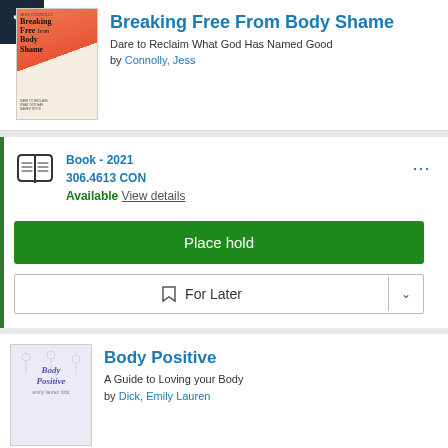[Figure (illustration): Book cover of Breaking Free From Body Shame with orange/red and cream design]
Breaking Free From Body Shame
Dare to Reclaim What God Has Named Good
by Connolly, Jess
Book - 2021
306.4613 CON
Available View details
Place hold
For Later
[Figure (illustration): Book cover of Body Positive with light purple/blue illustrated design showing diverse body figures]
Body Positive
A Guide to Loving your Body
by Dick, Emily Lauren